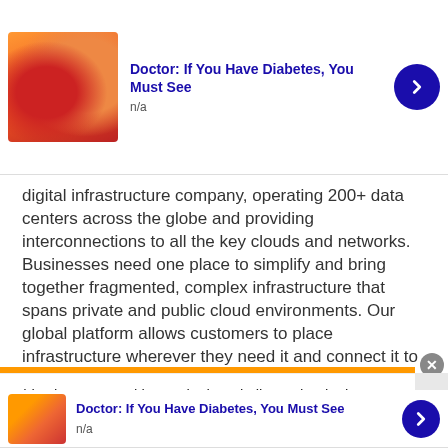[Figure (screenshot): Ad banner top: candy/gummies image with title 'Doctor: If You Have Diabetes, You Must See', n/a subtext, blue arrow button, close X button]
digital infrastructure company, operating 200+ data centers across the globe and providing interconnections to all the key clouds and networks. Businesses need one place to simplify and bring together fragmented, complex infrastructure that spans private and public cloud environments. Our global platform allows customers to place infrastructure wherever they need it and connect it to everything they need ... more
WhatJobs - 27 days ago
This site uses cookies and other similar technologies to provide site functionality, analyze traffic and usage, and
[Figure (screenshot): Ad banner bottom: candy/gummies image with title 'Doctor: If You Have Diabetes, You Must See', n/a subtext, blue arrow button]